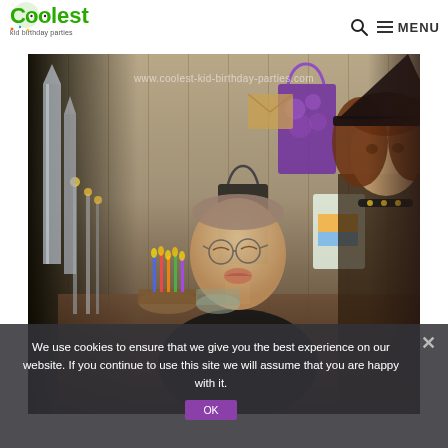[Figure (logo): Coolest Kid Birthday Parties logo with green text and colorful swirl graphic]
[Figure (photo): Birthday party scene: a boy wearing glasses and a dark robe (Harry Potter costume) blowing out candles on a birthday cake, with a woman in pirate costume behind him, gift bags and decorations visible, wood-paneled room background. Watermark: www.coolest-kid-birthday-parties.com]
We use cookies to ensure that we give you the best experience on our website. If you continue to use this site we will assume that you are happy with it.